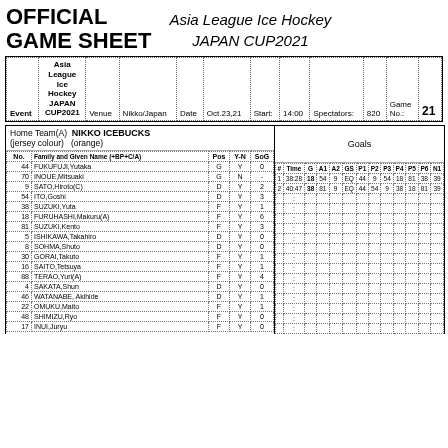OFFICIAL GAME SHEET
Asia League Ice Hockey JAPAN CUP2021
| Event | Asia League Ice Hockey JAPAN CUP2021 | Venue | Nikko/Japan | Date | Oct.23,21 | Start: | 14:00 | Spectators: | 820 | Game No.: | 21 |
| --- | --- | --- | --- | --- | --- | --- | --- | --- | --- | --- | --- |
| No. | Family and Given Name (+BP+C/A) | Pos | Y-N | SoG | # | Time | G | A1 | A2 | GS | P1 | P2 | P3 | P4 | P5 | P6 | N1 |
| --- | --- | --- | --- | --- | --- | --- | --- | --- | --- | --- | --- | --- | --- | --- | --- | --- | --- |
| 44 | FUKUFUJI,Yutaka | G | Y | 0 | 1 | 38:28 | 18 | 54 | 9 | EQ | 44 | 9 | 54 | 18 | 81 | 38 | 39 |
| 70 | INOUE,Mitsuaki | G | N | - | 2 | 40:47 | 38 | 81 | 9 | EQ | 44 | 54 | 9 | 38 | 18 | 81 | 39 |
| 9 | SATO,Hiroto(C) | D | Y | 2 |  | : |  |  |  |  |  |  |  |  |  |  |  |
| 54 | ITO,Goshi | D | Y | 3 |  | : |  |  |  |  |  |  |  |  |  |  |  |
| 38 | SUZUKI,Yuta | F | Y | 1 |  | : |  |  |  |  |  |  |  |  |  |  |  |
| 18 | FURUHASHI,Makuru(A) | F | Y | 6 |  | : |  |  |  |  |  |  |  |  |  |  |  |
| 81 | SUZUKI,Kento | F | Y | 3 |  | : |  |  |  |  |  |  |  |  |  |  |  |
| 5 | ISHIKAWA,Takahiro | D | Y | 0 |  | : |  |  |  |  |  |  |  |  |  |  |  |
| 8 | SOHMA,Shuto | D | Y | 0 |  | : |  |  |  |  |  |  |  |  |  |  |  |
| 30 | GORAI,Takuto | F | Y | 1 |  | : |  |  |  |  |  |  |  |  |  |  |  |
| 16 | SAITO,Tetsuya | F | Y | 1 |  | : |  |  |  |  |  |  |  |  |  |  |  |
| 88 | TERAO,Yuri(A) | F | Y | 4 |  | : |  |  |  |  |  |  |  |  |  |  |  |
| 4 | SAKATA,Shun | D | Y | 0 |  | : |  |  |  |  |  |  |  |  |  |  |  |
| 46 | WATANABE, Akihide | D | Y | 1 |  | : |  |  |  |  |  |  |  |  |  |  |  |
| 22 | OMUKU,Maito | F | Y | 1 |  | : |  |  |  |  |  |  |  |  |  |  |  |
| 48 | SHIMIZU,Ryo | F | Y | 0 |  | : |  |  |  |  |  |  |  |  |  |  |  |
| 17 | INUI,Juryu | F | Y | 0 |  | : |  |  |  |  |  |  |  |  |  |  |  |